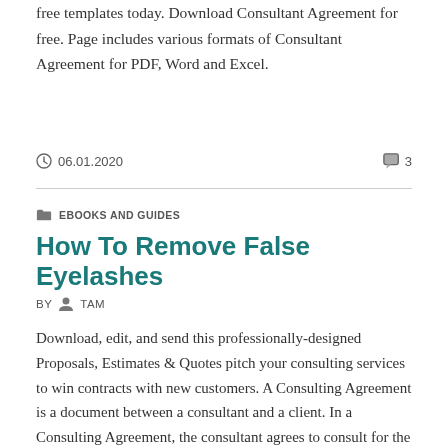free templates today. Download Consultant Agreement for free. Page includes various formats of Consultant Agreement for PDF, Word and Excel.
06.01.2020   3
EBOOKS AND GUIDES
How To Remove False Eyelashes
BY  TAM
Download, edit, and send this professionally-designed Proposals, Estimates & Quotes pitch your consulting services to win contracts with new customers. A Consulting Agreement is a document between a consultant and a client. In a Consulting Agreement, the consultant agrees to consult for the client. Discover the best free contract templates for your industry. Download